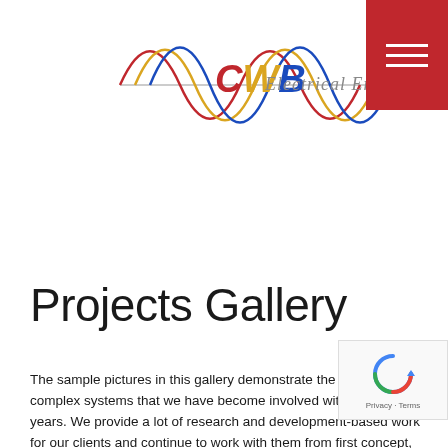[Figure (logo): CWB Electrical Engineers Ltd logo with coloured sine wave curves in red, yellow, and blue, with CWB in colour lettering and italic text 'Electrical Engineers Ltd']
Projects Gallery
The sample pictures in this gallery demonstrate the varied and complex systems that we have become involved with over the years. We provide a lot of research and development-based work for our clients and continue to work with them from first concept, through to production. We also provide more conventional control panels and systems for example on pumps and motor control. We can provide bespoke solutions or full-fill orders for multiple matching units and we are happy to travel to site to perform installation tasks if required.
We are confident that we can assist you with your project and